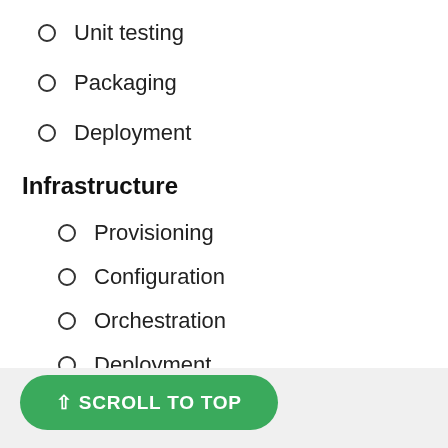Unit testing
Packaging
Deployment
Infrastructure
Provisioning
Configuration
Orchestration
Deployment
⇧ SCROLL TO TOP